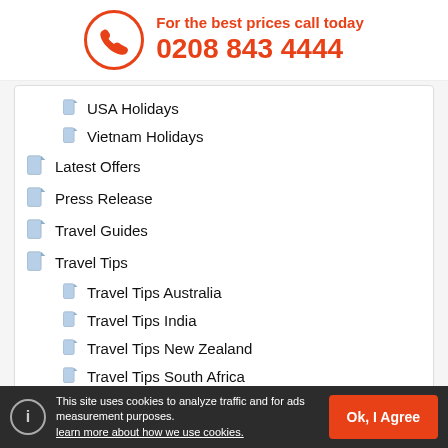For the best prices call today 0208 843 4444
USA Holidays
Vietnam Holidays
Latest Offers
Press Release
Travel Guides
Travel Tips
Travel Tips Australia
Travel Tips India
Travel Tips New Zealand
Travel Tips South Africa
Travel Tips Thailand
Travel Tips USA
This site uses cookies to analyze traffic and for ads measurement purposes. learn more about how we use cookies.